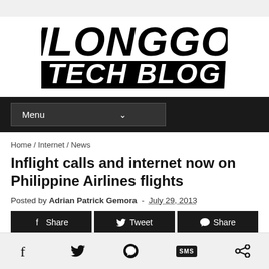[Figure (logo): ILONGGO TECH BLOG logo in bold italic black text on white background]
Menu ˅
Home / Internet / News
Inflight calls and internet now on Philippine Airlines flights
Posted by Adrian Patrick Gemora - July 29, 2013
[Figure (other): Share, Tweet, Share social media buttons row]
Facebook, Twitter, Messenger, SMS, Share icons